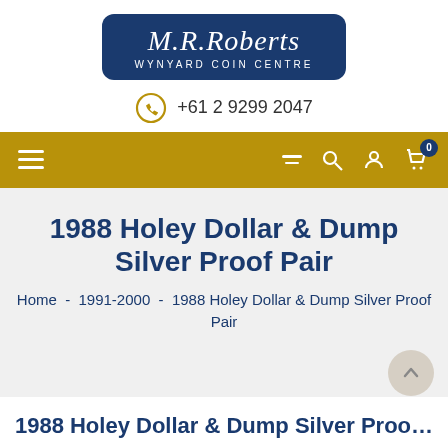[Figure (logo): M.R. Roberts Wynyard Coin Centre logo — dark blue rounded rectangle with italic serif text 'M.R.Roberts' and 'WYNYARD COIN CENTRE' in smaller caps below]
+61 2 9299 2047
[Figure (screenshot): Gold/dark-yellow navigation bar with hamburger menu icon on left, filter/sort icon, search icon, account icon, and cart icon (badge 0) on right]
1988 Holey Dollar & Dump Silver Proof Pair
Home  -  1991-2000  -  1988 Holey Dollar & Dump Silver Proof Pair
1988 Holey Dollar & Dump Silver Proo…